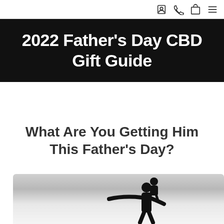[nav icons: account, phone, cart, menu]
2022 Father's Day CBD Gift Guide
What Are You Getting Him This Father's Day?
[Figure (photo): Silhouette of a father and child against a light gray background; the adult figure appears to be pointing into the distance while holding a child on their shoulders.]